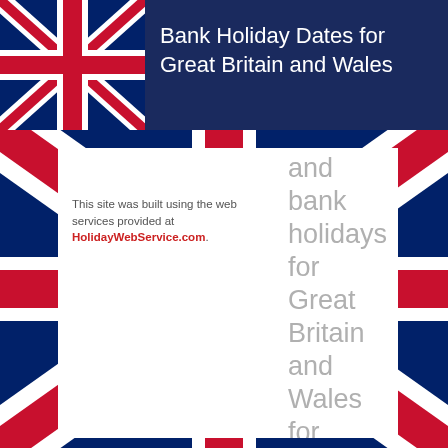Bank Holiday Dates for Great Britain and Wales
[Figure (illustration): Union Jack flag in header area and as background]
This site was built using the web services provided at HolidayWebService.com.
and bank holidays for Great Britain and Wales for March, 2021. Included in this list are religious dates, notable